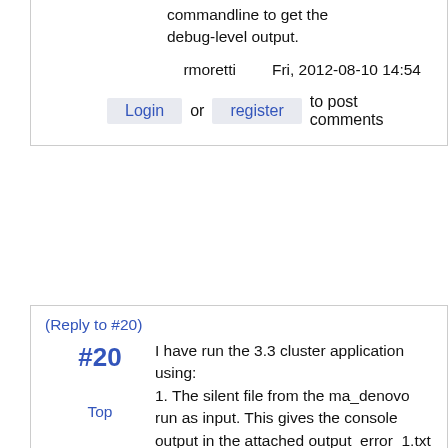commandline to get the debug-level output.
rmoretti    Fri, 2012-08-10 14:54
Login or register to post comments
(Reply to #20)
#20
I have run the 3.3 cluster application using:
1. The silent file from the ma_denovo run as input. This gives the console output in the attached output_error_1.txt file. Command used: duster.linuxgccrelease -database /c3se/apps/Glenn/rosetta/3.3/r -in:file:silenttest.out -out:file:silentout.out -
Top